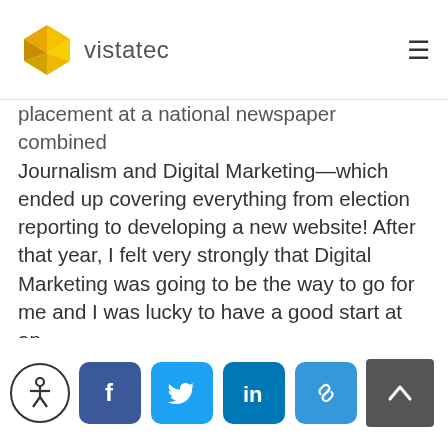vistatec
placement at a national newspaper combined Journalism and Digital Marketing—which ended up covering everything from election reporting to developing a new website! After that year, I felt very strongly that Digital Marketing was going to be the way to go for me and I was lucky to have a good start at an e-Commerce company that set me on the path I am on. I didn't set out to specialize in content marketing, I think my background in journalism, combined with my interest in all things digital made for the perfect combination without me realizing it!
Social share icons: Facebook, Twitter, LinkedIn, Link. Accessibility button. Back to top button.